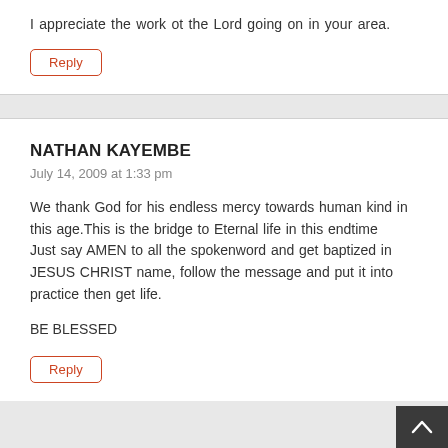I appreciate the work ot the Lord going on in your area.
Reply
NATHAN KAYEMBE
July 14, 2009 at 1:33 pm
We thank God for his endless mercy towards human kind in this age.This is the bridge to Eternal life in this endtime
Just say AMEN to all the spokenword and get baptized in JESUS CHRIST name, follow the message and put it into practice then get life.
BE BLESSED
Reply